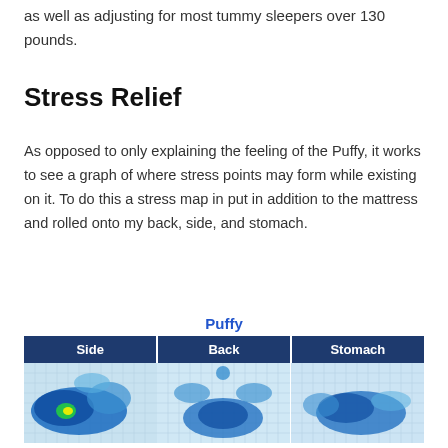as well as adjusting for most tummy sleepers over 130 pounds.
Stress Relief
As opposed to only explaining the feeling of the Puffy, it works to see a graph of where stress points may form while existing on it. To do this a stress map in put in addition to the mattress and rolled onto my back, side, and stomach.
Puffy
| Side | Back | Stomach |
| --- | --- | --- |
| [heatmap image] | [heatmap image] | [heatmap image] |